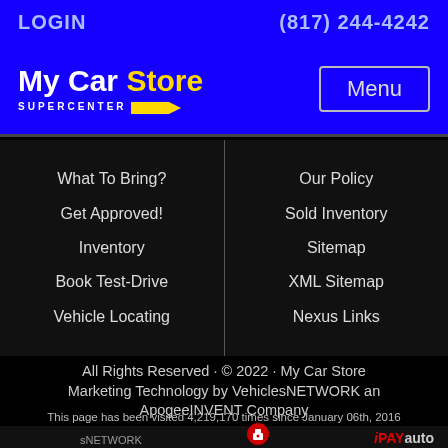LOGIN    (817) 244-4242
[Figure (logo): My Car Store SuperCenter logo with yellow arrow]
Menu
What To Bring?
Get Approved!
Inventory
Book Test-Drive
Vehicle Locating
Our Policy
Sold Inventory
Sitemap
XML Sitemap
Nexus Links
All Rights Reserved · © 2022 · My Car Store Marketing Technology by VehiclesNETWORK an ApogeeINVENT Company
This page has been visited 4,219,170 times since January 06th, 2016
My Car Store has been visited 16,850,113 times.
VehiclesNETWORK   iPAYauto